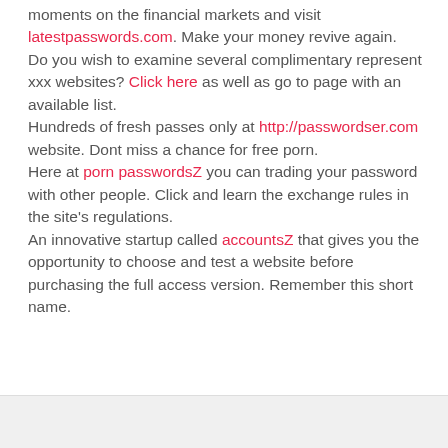moments on the financial markets and visit latestpasswords.com. Make your money revive again.
Do you wish to examine several complimentary represent xxx websites? Click here as well as go to page with an available list.
Hundreds of fresh passes only at http://passwordser.com website. Dont miss a chance for free porn.
Here at porn passwordsZ you can trading your password with other people. Click and learn the exchange rules in the site's regulations.
An innovative startup called accountsZ that gives you the opportunity to choose and test a website before purchasing the full access version. Remember this short name.